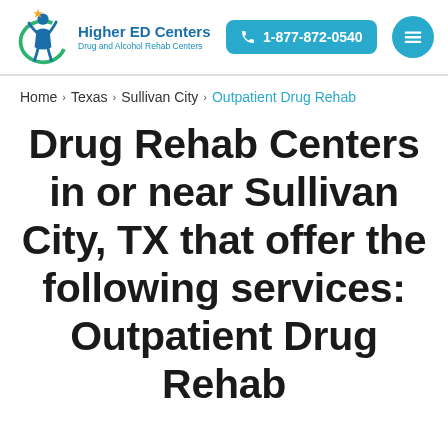[Figure (logo): Higher ED Centers logo with stylized figure and green circle, Drug and Alcohol Rehab Centers]
Higher ED Centers | Drug and Alcohol Rehab Centers | 1-877-872-0540
Home > Texas > Sullivan City > Outpatient Drug Rehab
Drug Rehab Centers in or near Sullivan City, TX that offer the following services: Outpatient Drug Rehab